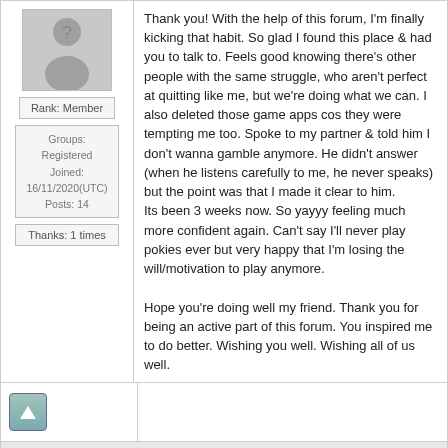[Figure (illustration): User avatar placeholder with grey silhouette of a person with question mark]
Rank: Member
Groups: Registered
Joined: 16/11/2020(UTC)
Posts: 14
Thanks: 1 times
Thank you! With the help of this forum, I'm finally kicking that habit. So glad I found this place & had you to talk to. Feels good knowing there's other people with the same struggle, who aren't perfect at quitting like me, but we're doing what we can. I also deleted those game apps cos they were tempting me too. Spoke to my partner & told him I don't wanna gamble anymore. He didn't answer (when he listens carefully to me, he never speaks) but the point was that I made it clear to him.
Its been 3 weeks now. So yayyy feeling much more confident again. Can't say I'll never play pokies ever but very happy that I'm losing the will/motivation to play anymore.

Hope you're doing well my friend. Thank you for being an active part of this forum. You inspired me to do better. Wishing you well. Wishing all of us well.
Users browsing this topic
Administrator (4)